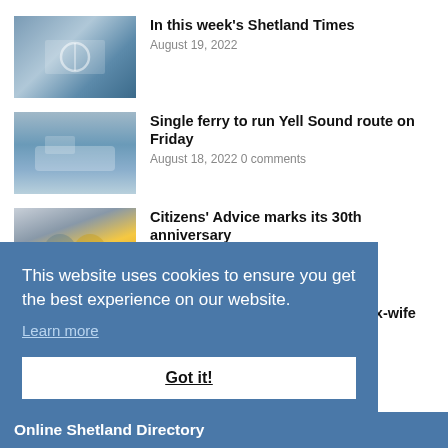In this week's Shetland Times — August 19, 2022
Single ferry to run Yell Sound route on Friday — August 18, 2022 0 comments
Citizens' Advice marks its 30th anniversary — August 18, 2022 0 comments
Former policeman who stalked ex-wife sought …
This website uses cookies to ensure you get the best experience on our website. Learn more
Got it!
Online Shetland Directory